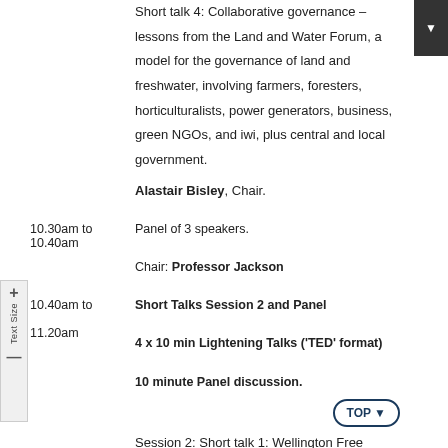Short talk 4: Collaborative governance – lessons from the Land and Water Forum, a model for the governance of land and freshwater, involving farmers, foresters, horticulturalists, power generators, business, green NGOs, and iwi, plus central and local government.
Alastair Bisley, Chair.
10.30am to 10.40am   Panel of 3 speakers.

Chair: Professor Jackson
10.40am to 11.20am   Short Talks Session 2 and Panel
4 x 10 min Lightening Talks ('TED' format)
10 minute Panel discussion.
Session 2: Short talk 1: Wellington Free Ambulance: